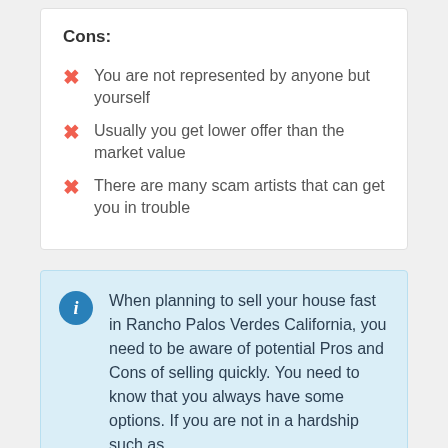Cons:
You are not represented by anyone but yourself
Usually you get lower offer than the market value
There are many scam artists that can get you in trouble
When planning to sell your house fast in Rancho Palos Verdes California, you need to be aware of potential Pros and Cons of selling quickly. You need to know that you always have some options. If you are not in a hardship such as